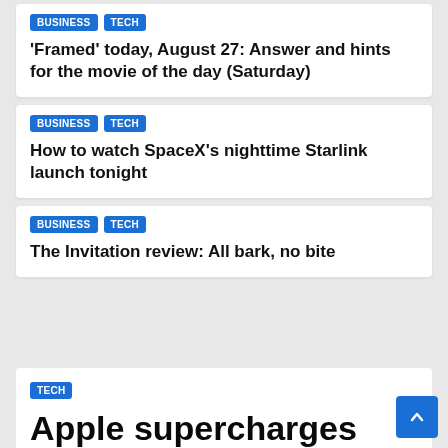BUSINESS TECH | 'Framed' today, August 27: Answer and hints for the movie of the day (Saturday)
BUSINESS TECH | How to watch SpaceX's nighttime Starlink launch tonight
BUSINESS TECH | The Invitation review: All bark, no bite
Apple supercharges